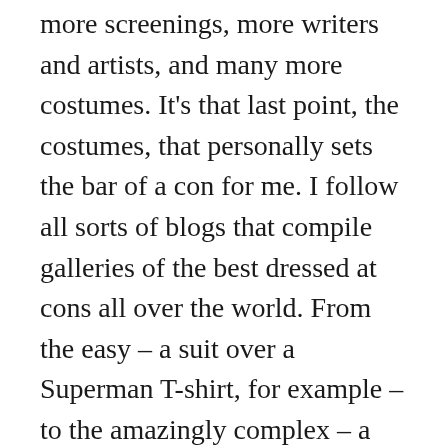more screenings, more writers and artists, and many more costumes. It's that last point, the costumes, that personally sets the bar of a con for me. I follow all sorts of blogs that compile galleries of the best dressed at cons all over the world. From the easy – a suit over a Superman T-shirt, for example – to the amazingly complex – a full suit of Iron Man armor – most of the best cosplay is limited only by the creator's imagination.
The lack of a lot of truly good cosplay at our con has always stupefied me. New Orleans is a city that's known for costuming, we dress for Mardi Gras, Halloween and every other chance